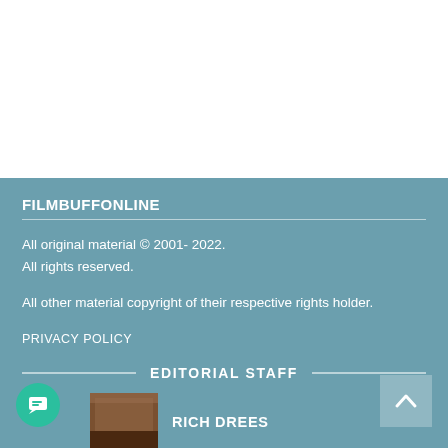FILMBUFFONLINE
All original material © 2001- 2022.
All rights reserved.
All other material copyright of their respective rights holder.
PRIVACY POLICY
EDITORIAL STAFF
RICH DREES